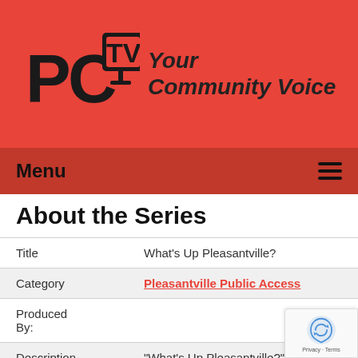[Figure (logo): PCTV logo with stylized letters PC and TV, alongside tagline 'Your Community Voice' on a red background]
Menu
About the Series
| Title | What's Up Pleasantville? |
| Category | Pleasantville Public Access |
| Produced By: |  |
| Description | "What's Up Pleasantville?" is a show highlighting community folks and businesses in our area. Check out who spotlight next!! |